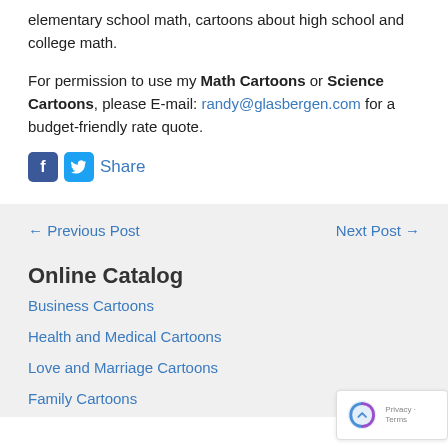elementary school math, cartoons about high school and college math.
For permission to use my Math Cartoons or Science Cartoons, please E-mail: randy@glasbergen.com for a budget-friendly rate quote.
Share
← Previous Post
Next Post →
Online Catalog
Business Cartoons
Health and Medical Cartoons
Love and Marriage Cartoons
Family Cartoons